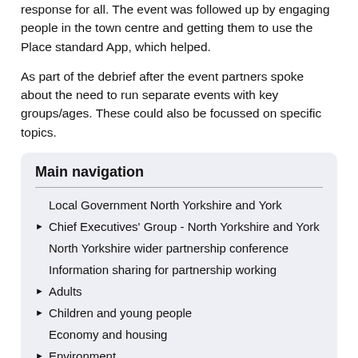response for all. The event was followed up by engaging people in the town centre and getting them to use the Place standard App, which helped.
As part of the debrief after the event partners spoke about the need to run separate events with key groups/ages. These could also be focussed on specific topics.
Main navigation
Local Government North Yorkshire and York
Chief Executives' Group - North Yorkshire and York
North Yorkshire wider partnership conference
Information sharing for partnership working
Adults
Children and young people
Economy and housing
Environment
Health and wellbeing